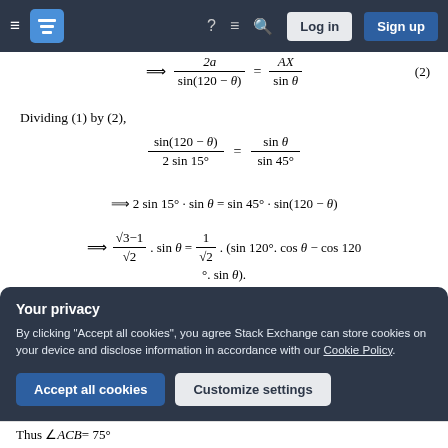Navigation bar with hamburger menu, logo, help, comments, search icons, Log in and Sign up buttons
Dividing (1) by (2),
Your privacy
By clicking "Accept all cookies", you agree Stack Exchange can store cookies on your device and disclose information in accordance with our Cookie Policy.
Thus ∠ACB = 75°